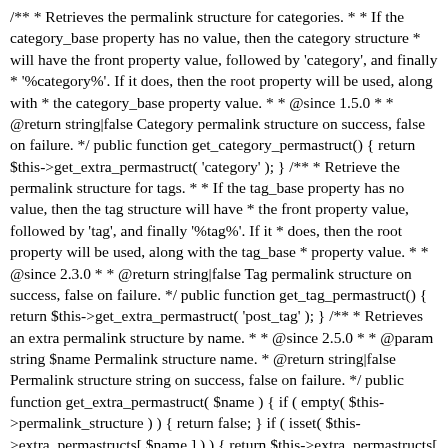/** * Retrieves the permalink structure for categories. * * If the category_base property has no value, then the category structure * will have the front property value, followed by 'category', and finally * '%category%'. If it does, then the root property will be used, along with * the category_base property value. * * @since 1.5.0 * * @return string|false Category permalink structure on success, false on failure. */ public function get_category_permastruct() { return $this->get_extra_permastruct( 'category' ); } /** * Retrieve the permalink structure for tags. * * If the tag_base property has no value, then the tag structure will have * the front property value, followed by 'tag', and finally '%tag%'. If it * does, then the root property will be used, along with the tag_base * property value. * * @since 2.3.0 * * @return string|false Tag permalink structure on success, false on failure. */ public function get_tag_permastruct() { return $this->get_extra_permastruct( 'post_tag' ); } /** * Retrieves an extra permalink structure by name. * * @since 2.5.0 * * @param string $name Permalink structure name. * @return string|false Permalink structure string on success, false on failure. */ public function get_extra_permastruct( $name ) { if ( empty( $this->permalink_structure ) ) { return false; } if ( isset( $this->extra_permastructs[ $name ] ) ) { return $this->extra_permastructs[ $name ]['struct']; } return false; } /** * Retrieves the author permalink structure. * * The permalink structure is front property, author base, and finally * '/%author%'.